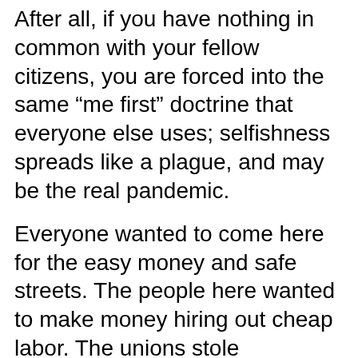After all, if you have nothing in common with your fellow citizens, you are forced into the same “me first” doctrine that everyone else uses; selfishness spreads like a plague, and may be the real pandemic.
Everyone wanted to come here for the easy money and safe streets. The people here wanted to make money hiring out cheap labor. The unions stole everything, and this drove others to outsource. We are at war with ourselves, and globalism was a work-around to keep the vending machines stocked.